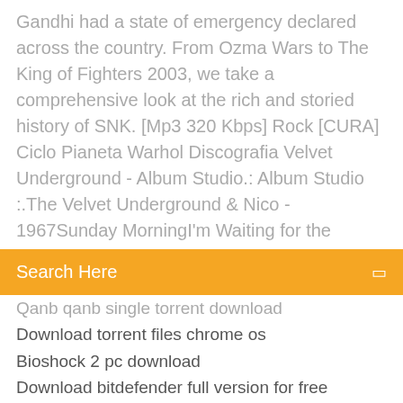Gandhi had a state of emergency declared across the country. From Ozma Wars to The King of Fighters 2003, we take a comprehensive look at the rich and storied history of SNK. [Mp3 320 Kbps] Rock [CURA] Ciclo Pianeta Warhol Discografia Velvet Underground - Album Studio.: Album Studio :.The Velvet Underground & Nico - 1967Sunday MorningI'm Waiting for the
Search Here
Qanb qanb single torrent download
Download torrent files chrome os
Bioshock 2 pc download
Download bitdefender full version for free
Turn off auto app download android
Olive garden menu pdf download
Madcaps game free download full version
Insidious 3 download torrent
Itools app is not downloaded to iphone
The gompertz family pdf download
Joystick dll driver download